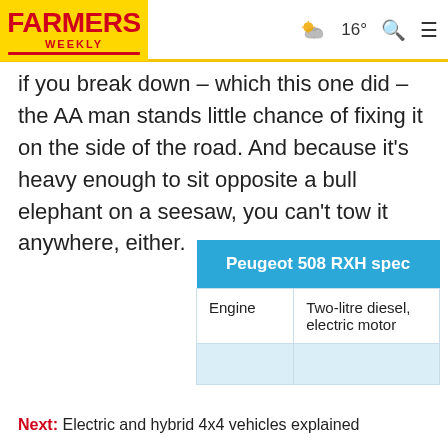FARMERS WEEKLY | 16° [weather] [search] [menu]
if you break down – which this one did – the AA man stands little chance of fixing it on the side of the road. And because it's heavy enough to sit opposite a bull elephant on a seesaw, you can't tow it anywhere, either.
| Peugeot 508 RXH spec |  |
| --- | --- |
| Engine | Two-litre diesel, electric motor |
|  |  |
Next: Electric and hybrid 4x4 vehicles explained